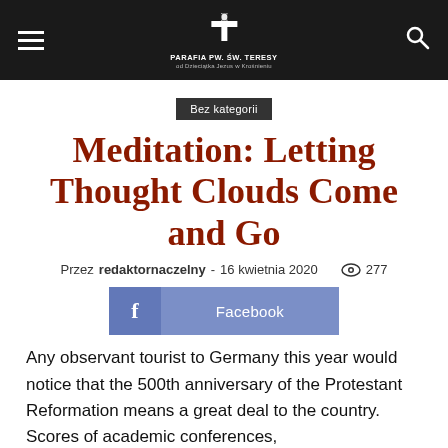PARAFIA PW. ŚW. TERESY od Dzieciątka Jezus w Krośnieniu
Bez kategorii
Meditation: Letting Thought Clouds Come and Go
Przez redaktornaczelny - 16 kwietnia 2020  277
[Figure (other): Facebook share button]
Any observant tourist to Germany this year would notice that the 500th anniversary of the Protestant Reformation means a great deal to the country. Scores of academic conferences,